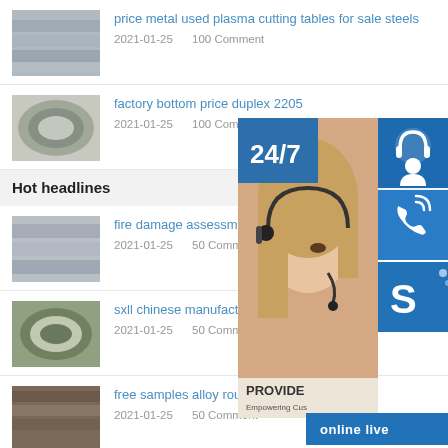[Figure (photo): Metal steel sheets thumbnail]
price metal used plasma cutting tables for sale steels
2021-01-25    100 Comment
[Figure (photo): Rolled steel coil thumbnail]
factory bottom price duplex 2205
2021-01-25    100 Comment
Hot headlines
[Figure (photo): Hot rolled steel plate thumbnail]
fire damage assessment of hot ro steelwork
2021-01-25    50 Comment
[Figure (photo): Cold drawn steel coil thumbnail]
sxll chinese manufacture standard best quality cold dra
2021-01-25    50 Comment
[Figure (photo): Alloy round steel bars thumbnail]
free samples alloy round seamless steel
2021-01-25    50 Comment
[Figure (infographic): 24/7 online live support widget with customer service photo, headset icon, phone icon, Skype icon, and online live button]